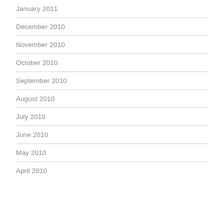January 2011
December 2010
November 2010
October 2010
September 2010
August 2010
July 2010
June 2010
May 2010
April 2010